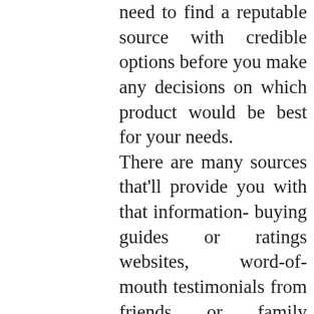need to find a reputable source with credible options before you make any decisions on which product would be best for your needs. There are many sources that'll provide you with that information- buying guides or ratings websites, word-of-mouth testimonials from friends or family members, online forums where users share their personal experiences, product reviews specifically found all over the internet and YouTube channels. Only thorough research will ensure that you get the right product. But that's not always easy, right? That's why we've taken time to compile a list of the best Dog Nail